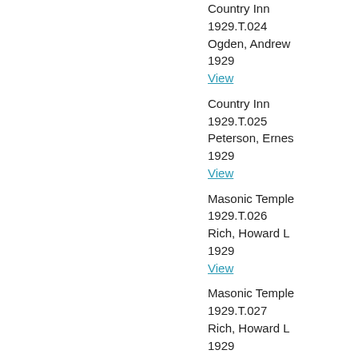Country Inn
1929.T.024
Ogden, Andrew
1929
View
Country Inn
1929.T.025
Peterson, Ernes
1929
View
Masonic Temple
1929.T.026
Rich, Howard L
1929
View
Masonic Temple
1929.T.027
Rich, Howard L
1929
View
Country Inn
1929.T.028